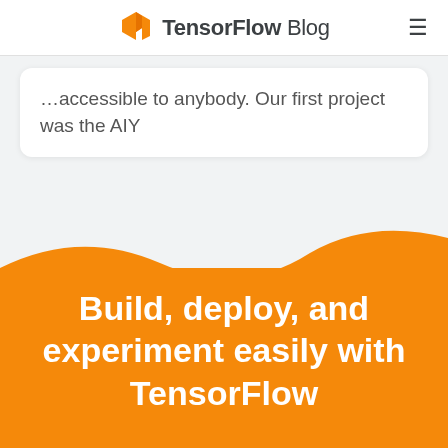TensorFlow Blog
…accessible to anybody. Our first project was the AIY
Build, deploy, and experiment easily with TensorFlow